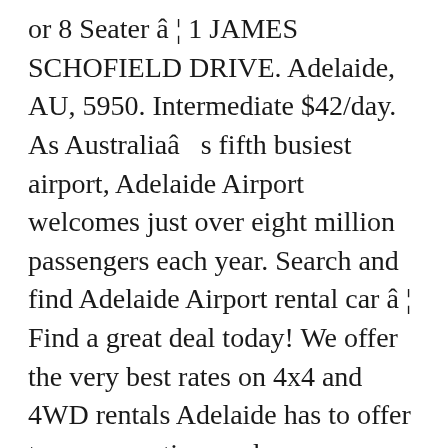or 8 Seater â ¦ 1 JAMES SCHOFIELD DRIVE. Adelaide, AU, 5950. Intermediate $42/day. As Australiaâ   s fifth busiest airport, Adelaide Airport welcomes just over eight million passengers each year. Search and find Adelaide Airport rental car â ¦ Find a great deal today! We offer the very best rates on 4x4 and 4WD rentals Adelaide has to offer to save you time and money comparing every supplier. In the last 72 hours the cheapest hire car price was found at Apex 219 Marion Rd, Marleston, Sa 5033 (4 kilometres from the city centre). Reach your hotel or next destination hassle-free by picking up a hire car directly at one of the on-site hire â ¦ There are also commercial parking lots like UPark or a P+R on the Adelaide...